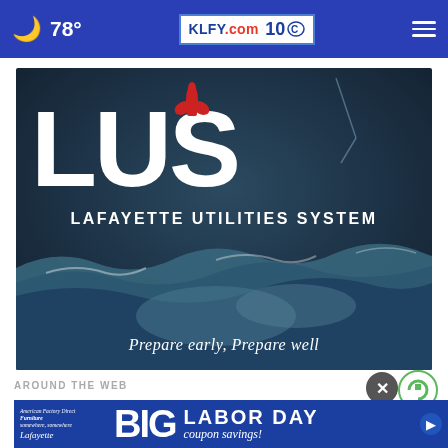🌙 78° | KLFY.com 10
[Figure (photo): LUS Lafayette Utilities System advertisement with stormy ocean waves background. Large white 'LUS' text with red fleur-de-lis logo, subtitle 'LAFAYETTE UTILITIES SYSTEM', tagline 'Prepare early, Prepare well']
AROUND THE WEB
[Figure (other): Bottom banner ad for American Factory Direct Furniture Lafayette - BIG LABOR DAY coupon savings promotion in blue and red]